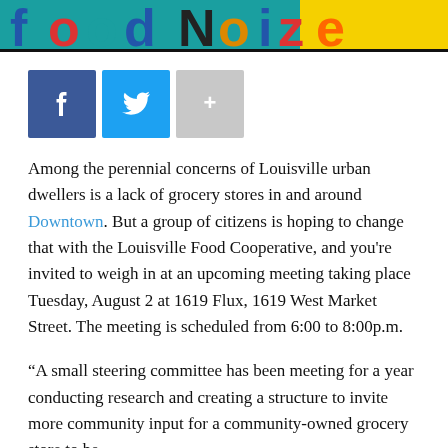[Figure (illustration): Colorful banner/logo with large letters on a teal and yellow background — appears to be a food cooperative or news site logo]
[Figure (other): Social sharing buttons: Facebook (blue with f icon), Twitter (light blue with bird icon), and a gray plus/more button]
Among the perennial concerns of Louisville urban dwellers is a lack of grocery stores in and around Downtown. But a group of citizens is hoping to change that with the Louisville Food Cooperative, and you're invited to weigh in at an upcoming meeting taking place Tuesday, August 2 at 1619 Flux, 1619 West Market Street. The meeting is scheduled from 6:00 to 8:00p.m.
“A small steering committee has been meeting for a year conducting research and creating a structure to invite more community input for a community-owned grocery store to be